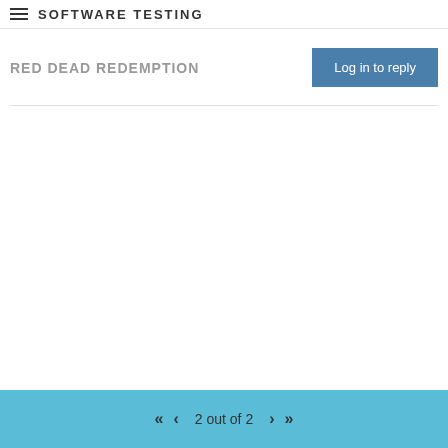SOFTWARE TESTING
RED DEAD REDEMPTION
Log in to reply
2 out of 2